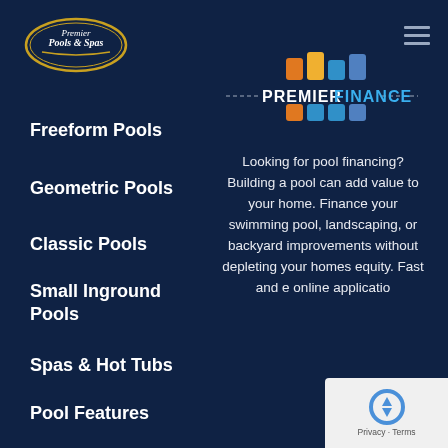[Figure (logo): Premier Pools & Spas logo — oval shape with gold border, white text inside]
[Figure (logo): Premier Finance branding logo with colored square tiles above the text and dashed lines on either side]
Freeform Pools
Geometric Pools
Classic Pools
Small Inground Pools
Spas & Hot Tubs
Pool Features
Looking for pool financing? Building a pool can add value to your home. Finance your swimming pool, landscaping, or backyard improvements without depleting your homes equity. Fast and easy online application